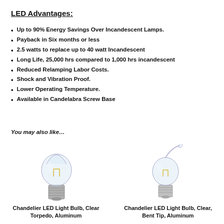LED Advantages:
Up to 90% Energy Savings Over Incandescent Lamps.
Payback in Six months or less
2.5 watts to replace up to 40 watt Incandescent
Long Life, 25,000 hrs compared to 1,000 hrs incandescent
Reduced Relamping Labor Costs.
Shock and Vibration Proof.
Lower Operating Temperature.
Available in Candelabra Screw Base
You may also like…
[Figure (illustration): Chandelier LED Light Bulb clear torpedo shape with aluminum base]
Chandelier LED Light Bulb, Clear Torpedo, Aluminum
[Figure (illustration): Chandelier LED Light Bulb clear bent tip shape with aluminum base]
Chandelier LED Light Bulb, Clear, Bent Tip, Aluminum